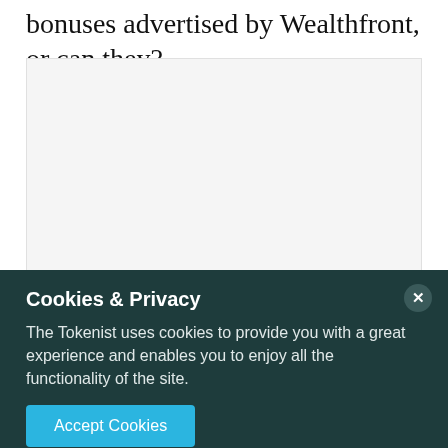bonuses advertised by Wealthfront, or can they?
[Figure (other): Empty or placeholder image area with light gray background]
Cookies & Privacy
The Tokenist uses cookies to provide you with a great experience and enables you to enjoy all the functionality of the site.
Accept Cookies